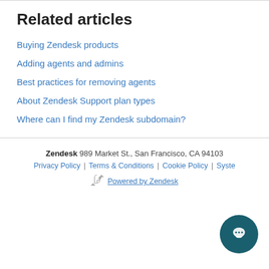Related articles
Buying Zendesk products
Adding agents and admins
Best practices for removing agents
About Zendesk Support plan types
Where can I find my Zendesk subdomain?
Zendesk 989 Market St., San Francisco, CA 94103 | Privacy Policy | Terms & Conditions | Cookie Policy | Syste... | Powered by Zendesk